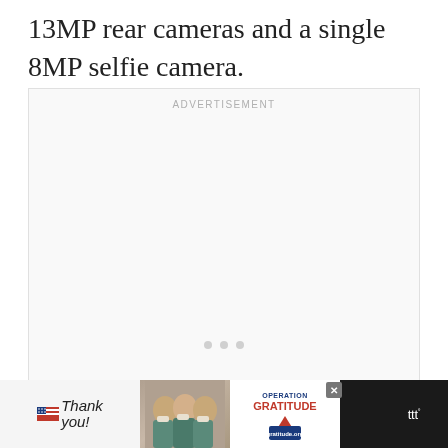13MP rear cameras and a single 8MP selfie camera.
[Figure (other): Advertisement placeholder box with 'ADVERTISEMENT' label at top and three small dots near the bottom center]
[Figure (other): Bottom banner advertisement: dark background with white ad panel showing 'Thank you!' handwritten text with American flag pencil graphic on the left, photo of three masked medical workers in the center, Operation Gratitude logo on the right, and a Weatherbug/weather app logo on the far right]